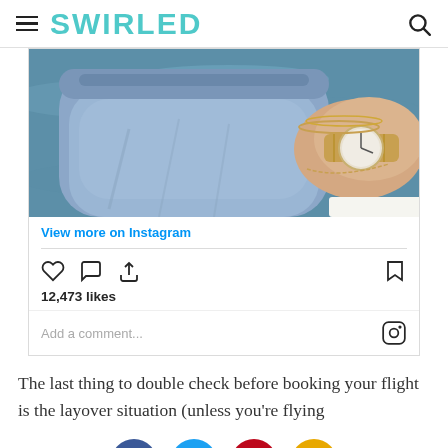SWIRLED
[Figure (screenshot): Instagram embed showing partial photo of jeans/watch near water, with View more on Instagram link, like/comment/share icons, 12,473 likes, and comment input field]
The last thing to double check before booking your flight is the layover situation (unless you’re flying
[Figure (other): Social share buttons: Facebook (blue), Twitter (light blue), Pinterest (red), Email (gold/orange)]